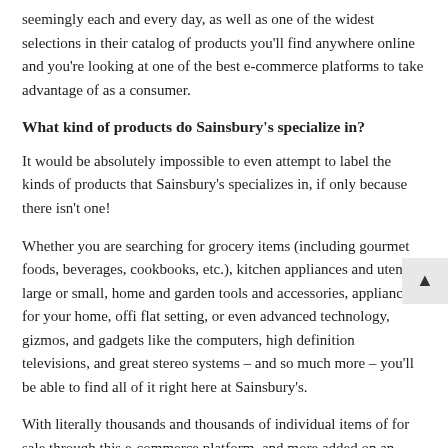seemingly each and every day, as well as one of the widest selections in their catalog of products you'll find anywhere online and you're looking at one of the best e-commerce platforms to take advantage of as a consumer.
What kind of products do Sainsbury's specialize in?
It would be absolutely impossible to even attempt to label the kinds of products that Sainsbury's specializes in, if only because there isn't one!
Whether you are searching for grocery items (including gourmet foods, beverages, cookbooks, etc.), kitchen appliances and utensils large or small, home and garden tools and accessories, appliances for your home, offi flat setting, or even advanced technology, gizmos, and gadgets like the computers, high definition televisions, and great stereo systems – and so much more – you'll be able to find all of it right here at Sainsbury's.
With literally thousands and thousands of individual items of for sale through this e-commerce platform, and more added on an almost daily basis, it's almost impossible to imagine not being able to discover exactly what you're looking for just by using this particular online retailer.